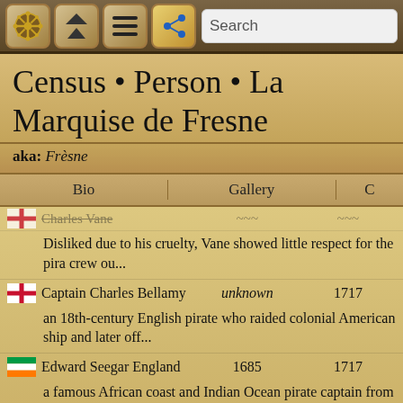[Figure (screenshot): Navigation toolbar with pirate ship wheel icon, home/up button, hamburger menu button, share button, and search bar]
Census • Person • La Marquise de Fresne
aka: Frèsne
[Figure (screenshot): Tab bar with Bio, Gallery, and partially visible third tab]
Disliked due to his cruelty, Vane showed little respect for the pira crew ou...
Captain Charles Bellamy    unknown    1717
an 18th-century English pirate who raided colonial American ship and later off...
Edward Seegar England    1685    1717
a famous African coast and Indian Ocean pirate captain from 171 he sailed on ...
Christopher Condent    1690s    1718
an English pirate who led the return to the Eastern Seas. He bega...